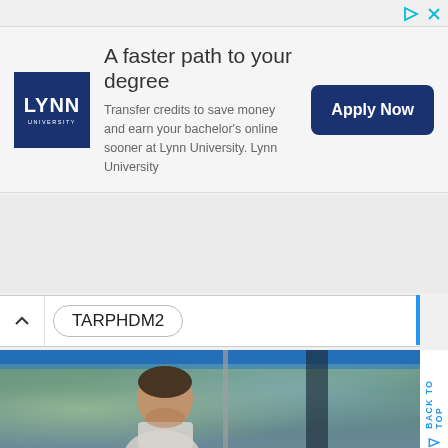[Figure (other): Ad control icons in top-right: play/ad icon and close X in cyan/teal color]
[Figure (infographic): Lynn University advertisement banner. Left: dark blue square logo with 'LYNN UNIVERSITY' text. Center: headline 'A faster path to your degree' with body text 'Transfer credits to save money and earn your bachelor's online sooner at Lynn University. Lynn University'. Right: dark blue 'Apply Now' button.]
TARPHDM2
[Figure (photo): Outdoor scene showing a man in a light-colored shirt looking down, photographed outdoors near a blue canopy/awning structure, with trees and a building visible in the background.]